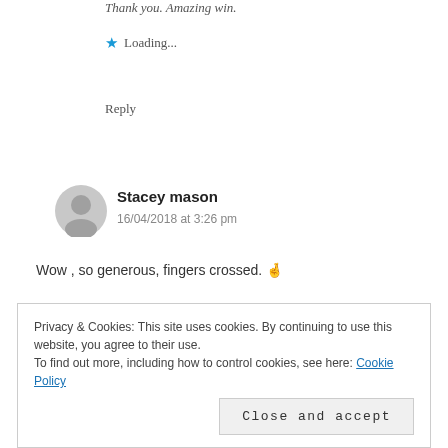Thank you. Amazing win.
★ Loading...
Reply
Stacey mason
16/04/2018 at 3:26 pm
Wow , so generous, fingers crossed. 🤞
Privacy & Cookies: This site uses cookies. By continuing to use this website, you agree to their use.
To find out more, including how to control cookies, see here: Cookie Policy
Close and accept